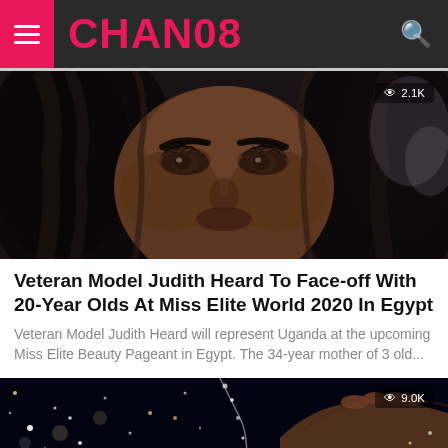CHANO8
[Figure (photo): Close-up photo of a Black woman's face with long wavy hair, dramatic eye makeup and lashes, against a dark background. View count badge shows 2.1K.]
Veteran Model Judith Heard To Face-off With 20-Year Olds At Miss Elite World 2020 In Egypt
Veteran Model Judith Heard will represent Uganda at the upcoming Miss Elite Beauty Pageant in Egypt. The 34-year mother of 3 old...
[Figure (photo): Dark image showing a person's hand with bokeh sparkle lights in the background. View count badge shows 9.0K.]